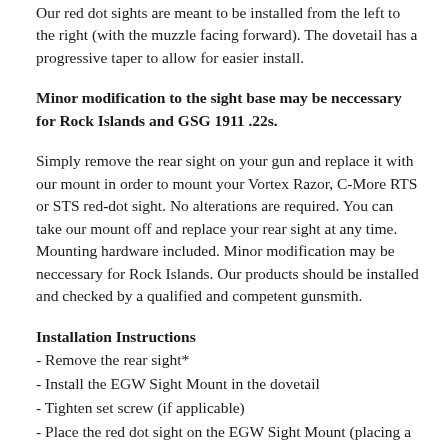Our red dot sights are meant to be installed from the left to the right (with the muzzle facing forward). The dovetail has a progressive taper to allow for easier install.
Minor modification to the sight base may be neccessary for Rock Islands and GSG 1911 .22s.
Simply remove the rear sight on your gun and replace it with our mount in order to mount your Vortex Razor, C-More RTS or STS red-dot sight. No alterations are required. You can take our mount off and replace your rear sight at any time. Mounting hardware included. Minor modification may be neccessary for Rock Islands. Our products should be installed and checked by a qualified and competent gunsmith.
Installation Instructions
- Remove the rear sight*
- Install the EGW Sight Mount in the dovetail
- Tighten set screw (if applicable)
- Place the red dot sight on the EGW Sight Mount (placing a small piece of paper between the red dot sight